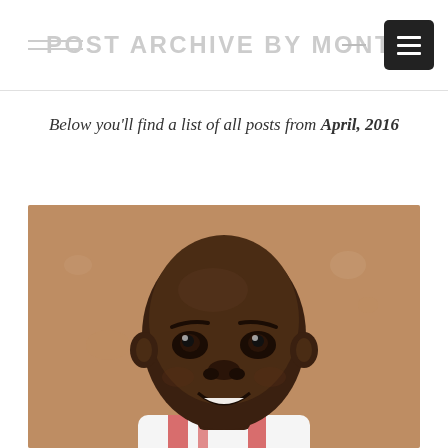POST ARCHIVE BY MONTH
Below you'll find a list of all posts from April, 2016
[Figure (photo): Portrait photo of a young smiling African child with a shaved head, wearing a white and red striped tank top, against a beige/tan wall background.]